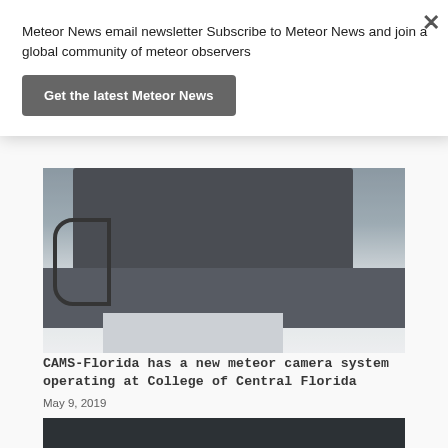Meteor News email newsletter Subscribe to Meteor News and join a global community of meteor observers
Get the latest Meteor News
[Figure (photo): Close-up photo of a CAMS meteor camera system hardware mounted on a pedestal, showing dark metal housing with cables]
CAMS-Florida has a new meteor camera system operating at College of Central Florida
May 9, 2019
[Figure (photo): Night sky image showing a bright meteor trail against a dark starry background, with a video play button overlay]